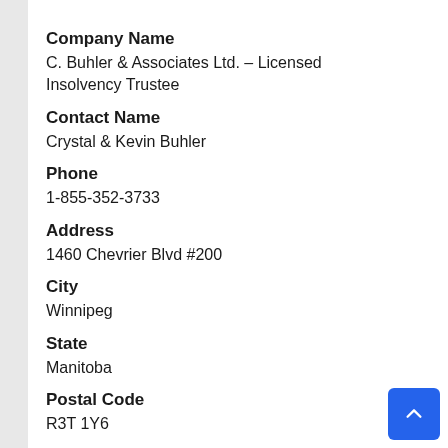Company Name
C. Buhler & Associates Ltd. – Licensed Insolvency Trustee
Contact Name
Crystal & Kevin Buhler
Phone
1-855-352-3733
Address
1460 Chevrier Blvd #200
City
Winnipeg
State
Manitoba
Postal Code
R3T 1Y6
Country
Canada